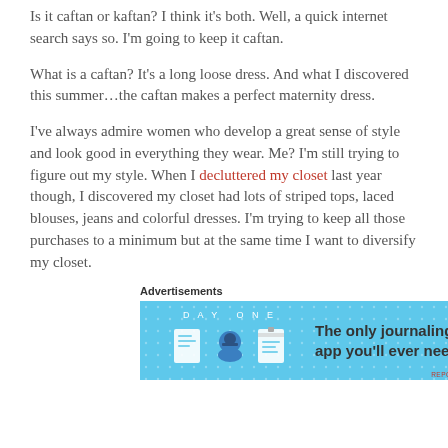Is it caftan or kaftan? I think it's both. Well, a quick internet search says so. I'm going to keep it caftan.
What is a caftan? It's a long loose dress. And what I discovered this summer…the caftan makes a perfect maternity dress.
I've always admire women who develop a great sense of style and look good in everything they wear. Me? I'm still trying to figure out my style. When I decluttered my closet last year though, I discovered my closet had lots of striped tops, laced blouses, jeans and colorful dresses. I'm trying to keep all those purchases to a minimum but at the same time I want to diversify my closet.
Advertisements
[Figure (other): Day One journaling app advertisement banner with blue background, app icons, and text 'The only journaling app you'll ever need.']